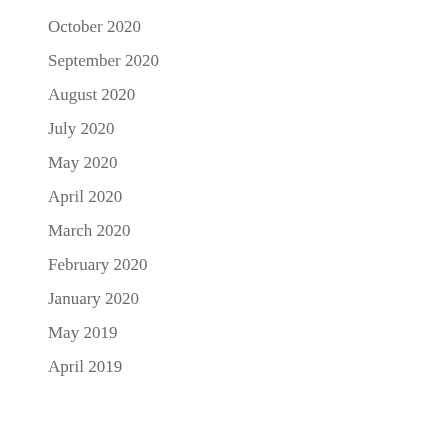October 2020
September 2020
August 2020
July 2020
May 2020
April 2020
March 2020
February 2020
January 2020
May 2019
April 2019